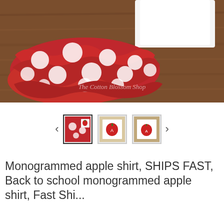[Figure (photo): Product photo showing red and white polka dot ruffled bloomers/shorts and a white shirt laid on a wooden surface. Watermark reads 'The Cotton Blossom Shop'.]
[Figure (photo): Thumbnail gallery with three small product images showing different views/items including an apple monogram shirt. Navigation arrows on left and right.]
Monogrammed apple shirt, SHIPS FAST, Back to school monogrammed apple shirt, Fast Shipping, wide load...